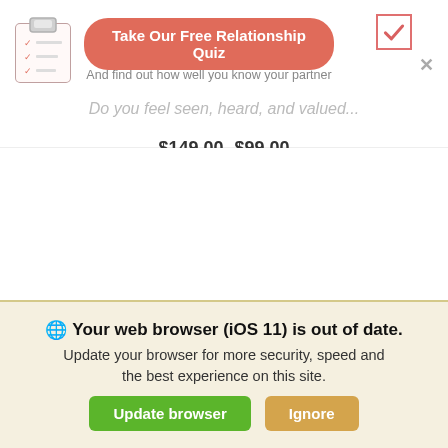[Figure (illustration): Clipboard icon with checkmarks on the left side of the top banner]
Take Our Free Relationship Quiz
And find out how well you know your partner
[Figure (illustration): Red checkmark inside a bordered box, top right]
Do you feel seen, heard, and valued...
$149.00 $99.00
[Figure (illustration): GOTTMAN CONNECT logo text above a watercolor peach/orange heart shape, with 'Gottman' text in salmon/red italic to the right]
🌐 Your web browser (iOS 11) is out of date. Update your browser for more security, speed and the best experience on this site.
Update browser
Ignore